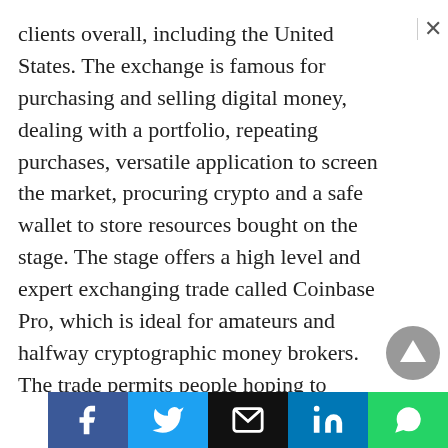clients overall, including the United States. The exchange is famous for purchasing and selling digital money, dealing with a portfolio, repeating purchases, versatile application to screen the market, procuring crypto and a safe wallet to store resources bought on the stage. The stage offers a high level and expert exchanging trade called Coinbase Pro, which is ideal for amateurs and halfway cryptographic money brokers. The trade permits people hoping to exchange a wide assortment of computerized monetary standards on a safe and protection upheld stage and supports check cards as